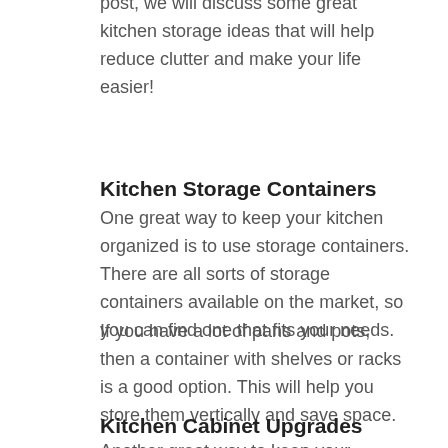post, we will discuss some great kitchen storage ideas that will help reduce clutter and make your life easier!
Kitchen Storage Containers
One great way to keep your kitchen organized is to use storage containers. There are all sorts of storage containers available on the market, so you can find one that fits your needs.
If you have a lot of pans and pots, then a container with shelves or racks is a good option. This will help you store them vertically and save space.
Kitchen Cabinet Upgrades
Another great way to keep your